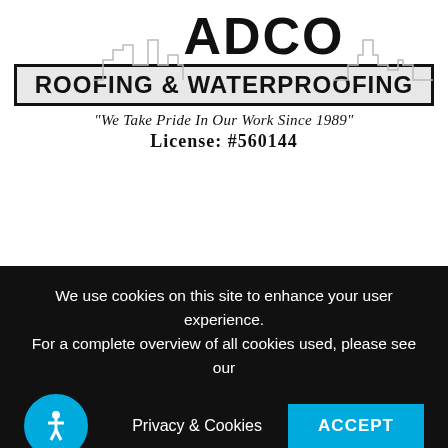[Figure (logo): ADCO Roofing & Waterproofing company logo with cityscape/skyline silhouette outline behind the ADCO text, followed by a banner reading ROOFING & WATERPROOFING]
"We Take Pride In Our Work Since 1989"
License: #560144
Roofing is more than just installation and repair; seek to build a relationship with a company that offers an array of services under one roof. Also, aside from providing auxiliary services such as maintenance, free consultation or
We use cookies on this site to enhance your user experience. For a complete overview of all cookies used, please see our
Privacy & Cookies
ACCEPT